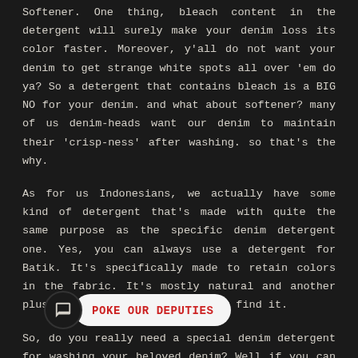Softener. One thing, bleach content in the detergent will surely make your denim loss its color faster. Moreover, y'all do not want your denim to get strange white spots all over 'em do ya? So a detergent that contains bleach is a BIG NO for your denim. and what about softener? many of us denim-heads want our denim to maintain their 'crisp-ness' after washing. so that's the why.
As for us Indonesians, we actually have some kind of detergent that's made with quite the same purpose as the specific denim detergent one. Yes, you can always use a detergent for Batik. It's specifically made to retain colors in the fabric. It's mostly natural and another plus side is that you can easily find it.
So, do you really need a special denim detergent for washing your beloved denim? Well if you can find one, we ur... u... f those premium denim detergents also contain eco-friendly natural ingredient th...
[Figure (other): Chat widget overlay with icon and bubble reading 'POKE OUR DEPUTIES' in red text on white rounded rectangle background]